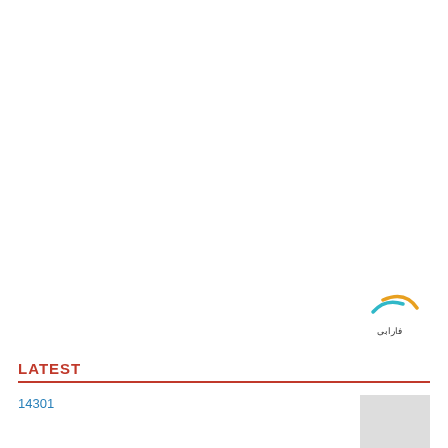[Figure (other): Red SEND MESSAGE button UI element]
[Figure (logo): Circular logo with orange and teal swoosh, Arabic text below]
LATEST
14301
IPL: Esteghlal held by Naft Masjed Soleyman
Handicrafts center inaugurated in Kordestan
Traditional leatherwork, jewelry on show at tourism ministry